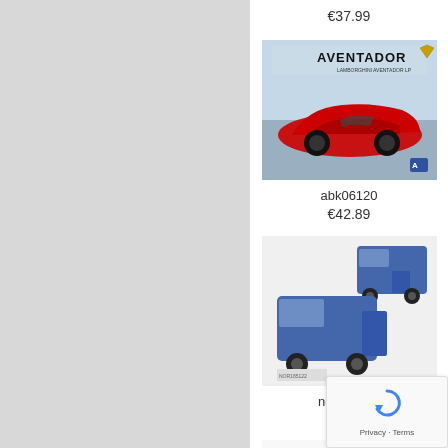€37.99
[Figure (photo): Product image of Lamborghini Aventador model kit box art showing a red sports car with AVENTADOR branding]
abk06120
€42.89
[Figure (photo): Product image of blue vintage van/delivery vehicle model (Renault Estafette style), shown from multiple angles including rear with open door]
nor185122
€65.99
[Figure (photo): Partial view of a black Formula 1 racing car model at bottom of page]
[Figure (other): reCAPTCHA privacy overlay widget in bottom right corner showing circular arrows icon with Privacy - Terms text]